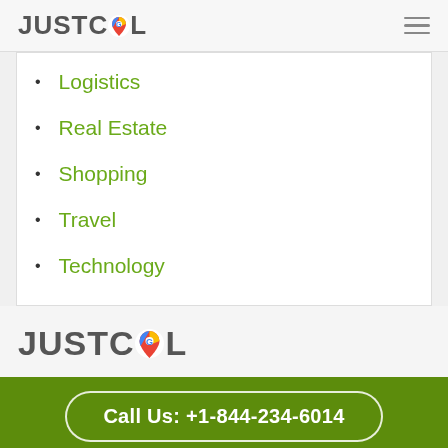JUSTCOL
Logistics
Real Estate
Shopping
Travel
Technology
[Figure (logo): JUSTCOL logo with Google Maps pin icon replacing the O]
Call Us: +1-844-234-6014